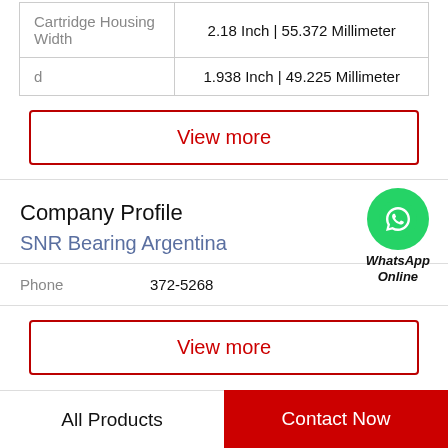| Cartridge Housing Width | 2.18 Inch | 55.372 Millimeter |
| d | 1.938 Inch | 49.225 Millimeter |
View more
Company Profile
SNR Bearing Argentina
[Figure (logo): WhatsApp green circle icon with phone handset, labeled WhatsApp Online]
Phone  372-5268
View more
All Products
Contact Now